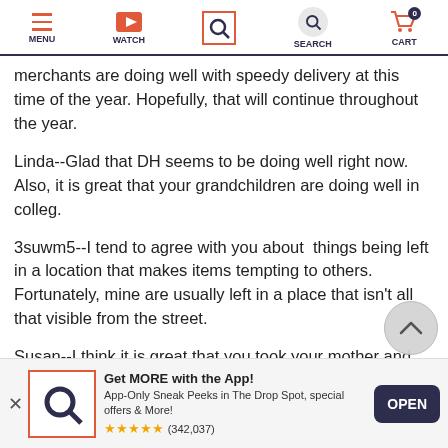MENU | WATCH | [SEARCH active] | SEARCH | CART
merchants are doing well with speedy delivery at this time of the year. Hopefully, that will continue throughout the year.
Linda--Glad that DH seems to be doing well right now. Also, it is great that your grandchildren are doing well in colleg.
3suwm5--I tend to agree with you about things being left in a location that makes items tempting to others. Fortunately, mine are usually left in a place that isn't all that visible from the street.
Susan--I think it is great that you took your mother and her friend to the Winter Flower Show. Doing something constructive? That is something I need to do in the evning.
I worked today with one class being very challenging, so I w
happy to see it end. When I got home, I saw that UPS had d…
Get MORE with the App!
App-Only Sneak Peeks in The Drop Spot, special offers & More!
★★★★★ (342,037)